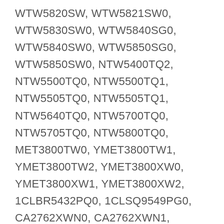WTW5820SW, WTW5821SW0, WTW5830SW0, WTW5840SG0, WTW5840SW0, WTW5850SG0, WTW5850SW0, NTW5400TQ2, NTW5500TQ0, NTW5500TQ1, NTW5505TQ0, NTW5505TQ1, NTW5640TQ0, NTW5700TQ0, NTW5705TQ0, NTW5800TQ0, MET3800TW0, YMET3800TW1, YMET3800TW2, YMET3800XW0, YMET3800XW1, YMET3800XW2, 1CLBR5432PQ0, 1CLSQ9549PG0, CA2762XWN0, CA2762XWN1, CA2762XWW0, CA2762XWW1, WTW5860SG0, WTW5860SW0, WTW58ESVW0, WTW58ESVW1, WTW5900SB0, WTW5900SW0, WTW5900TB0, WTW5900TW0, YLTE5243DQ2, YLTE5243DQ3, YLTE5243DQ4, YLTE5243DQ5, YLTE5243DQ6, YLTE5243DQ7, YLTE5243DQ8, YLTE5243DQ9, YLTE5243DQA, YLTE5243DQB, YLTE6234DQ3, YLTE6234DQ4 , YLTE6234DQ5, YLTE6234DQ6, YMET3800TW0,